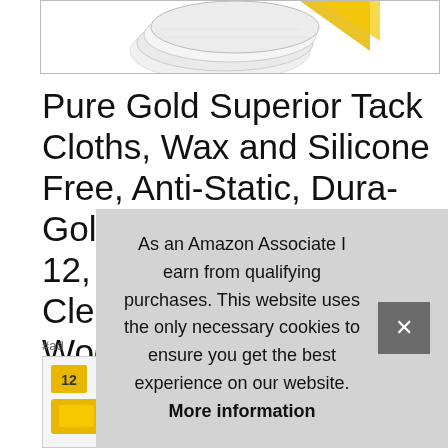[Figure (photo): Partial view of a product image showing tack cloths with yellow packaging against white background, cropped at top of frame]
Pure Gold Superior Tack Cloths, Wax and Silicone Free, Anti-Static, Dura-Gold, Tack Rags Box of 12, Sanding Particles, Cleans Surfaces, Woodworking and Painters Professional Grade, Removes Dust
#ad
[Figure (screenshot): Cookie consent overlay popup with close button (x), showing Amazon Associate disclaimer and cookie notice. Text: As an Amazon Associate I earn from qualifying purchases. This website uses the only necessary cookies to ensure you get the best experience on our website. More information]
[Figure (photo): Bottom thumbnail row showing product images partially visible]